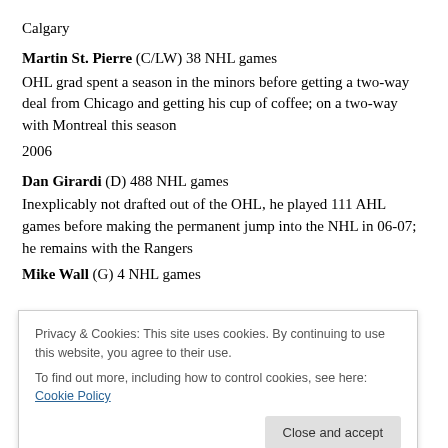Calgary
Martin St. Pierre (C/LW) 38 NHL games
OHL grad spent a season in the minors before getting a two-way deal from Chicago and getting his cup of coffee; on a two-way with Montreal this season
2006
Dan Girardi (D) 488 NHL games
Inexplicably not drafted out of the OHL, he played 111 AHL games before making the permanent jump into the NHL in 06-07; he remains with the Rangers
Mike Wall (G) 4 NHL games
[Figure (screenshot): Cookie consent banner overlay reading: Privacy & Cookies: This site uses cookies. By continuing to use this website, you agree to their use. To find out more, including how to control cookies, see here: Cookie Policy. Button: Close and accept]
David Clarkson (RW) 426 NHL games